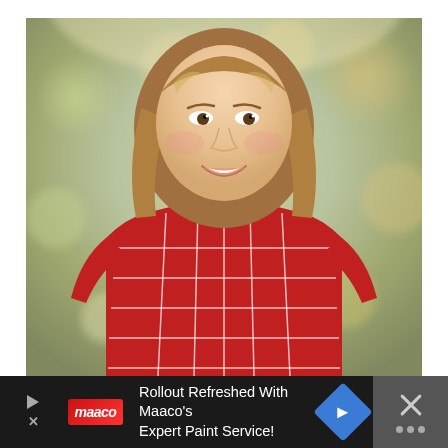[Figure (photo): Portrait photo of a smiling woman with shoulder-length auburn/blonde hair, wearing a red plaid turtleneck top, posed outdoors with a blurred natural background of greens and warm tones]
Rollout Refreshed With Maaco's Expert Paint Service!